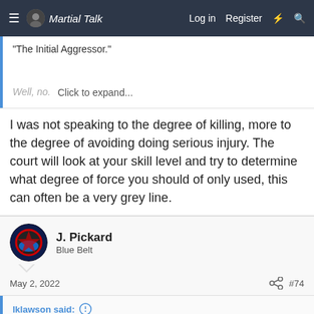Martial Talk — Log in   Register
"The Initial Aggressor."
Well, no.
Click to expand...
I was not speaking to the degree of killing, more to the degree of avoiding doing serious injury. The court will look at your skill level and try to determine what degree of force you should of only used, this can often be a very grey line.
J. Pickard
Blue Belt
May 2, 2022   #74
lklawson said:
This is a very great misrepresentation of the Zimmerman case.